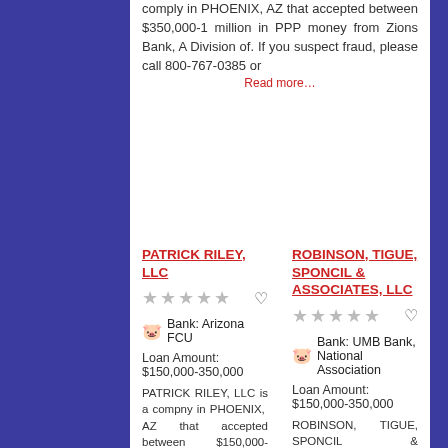comply in PHOENIX, AZ that accepted between $350,000-1 million in PPP money from Zions Bank, A Division of. If you suspect fraud, please call 800-767-0385 or Read more…
PATRICK RILEY, LLC
Bank: Arizona FCU
Loan Amount: $150,000-350,000
PATRICK RILEY, LLC is a compny in PHOENIX, AZ that accepted between $150,000-350,000 in PPP money from Arizona FCU. If you suspect fraud, please call 800-767-0385 or visit Read more…
ROBINSON, TIGUE, SPONCIL & ASSOCIATES, LLC
Bank: UMB Bank, National Association
Loan Amount: $150,000-350,000
ROBINSON, TIGUE, SPONCIL & ASSOCIATES, LLC is a compny in PHOENIX, AZ that accepted between $150,000-350,000 in PPP money from UMB Bank, National